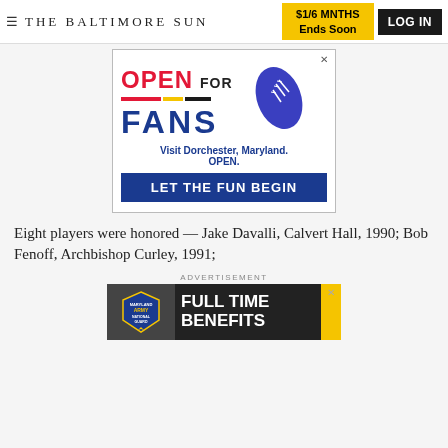= THE BALTIMORE SUN | $1/6 MNTHS Ends Soon | LOG IN
[Figure (infographic): Advertisement: Open For Fans - Visit Dorchester, Maryland. OPEN. LET THE FUN BEGIN]
Eight players were honored — Jake Davalli, Calvert Hall, 1990; Bob Fenoff, Archbishop Curley, 1991;
ADVERTISEMENT
[Figure (infographic): Advertisement: Maryland Army National Guard - FULL TIME BENEFITS]